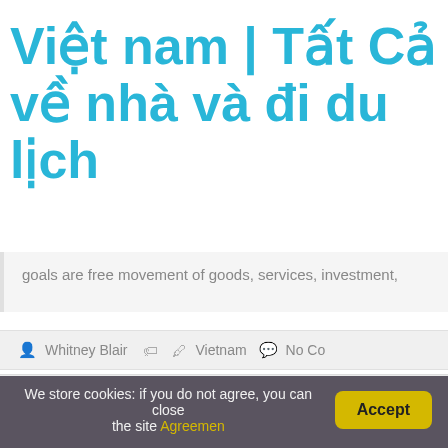Việt nam | Tất Cả về nhà và đi du lịch
goals are free movement of goods, services, investment,
Whitney Blair  Vietnam  No Co
← Câu Trả Lời Nhanh Chóng: What Is The Legal Drinking Age In Vietnam?
Leave a Reply
We store cookies: if you do not agree, you can close the site Agreemen